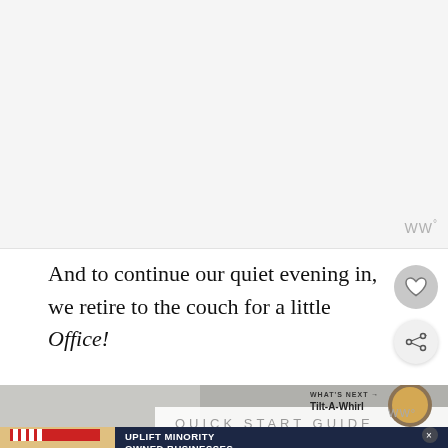[Figure (screenshot): White/light gray empty content area at top of page]
WW°
And to continue our quiet evening in, we retire to the couch for a little Office!
[Figure (screenshot): Bottom promotional area showing Quick Start Guide image and Uplift Minority Owned Businesses ad banner with What's Next Tilt-A-Whirl label]